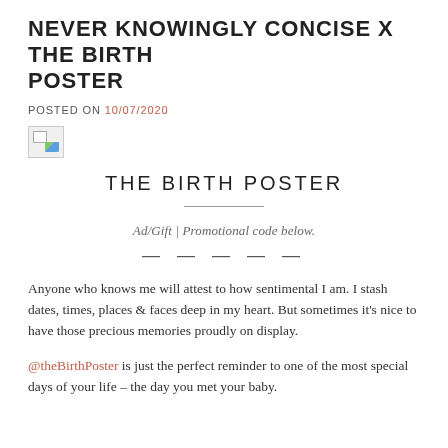NEVER KNOWINGLY CONCISE X THE BIRTH POSTER
POSTED ON 10/07/2020
[Figure (photo): Broken/missing image placeholder icon]
THE BIRTH POSTER
Ad/Gift | Promotional code below.
— — — — —
Anyone who knows me will attest to how sentimental I am. I stash dates, times, places & faces deep in my heart. But sometimes it's nice to have those precious memories proudly on display.
@theBirthPoster is just the perfect reminder to one of the most special days of your life – the day you met your baby.